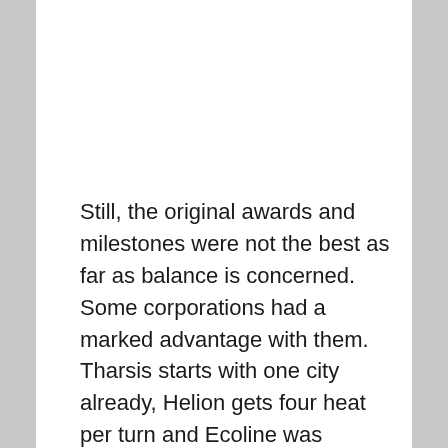Still, the original awards and milestones were not the best as far as balance is concerned. Some corporations had a marked advantage with them. Tharsis starts with one city already, Helion gets four heat per turn and Ecoline was already producing more plants than anybody. This resulted in fairly simplistic strategies. The new ones have more play to them and are more heavily contested.